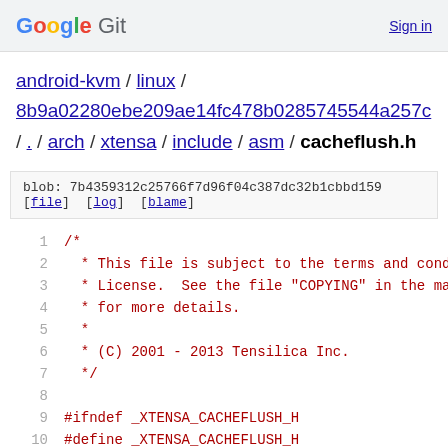Google Git  Sign in
android-kvm / linux / 8b9a02280ebe209ae14fc478b0285745544a257c / . / arch / xtensa / include / asm / cacheflush.h
blob: 7b4359312c25766f7d96f04c387dc32b1cbbd159
[file] [log] [blame]
1  /*
2   * This file is subject to the terms and condit
3   * License.  See the file "COPYING" in the main
4   * for more details.
5   *
6   * (C) 2001 - 2013 Tensilica Inc.
7   */
8
9  #ifndef _XTENSA_CACHEFLUSH_H
10 #define _XTENSA_CACHEFLUSH_H